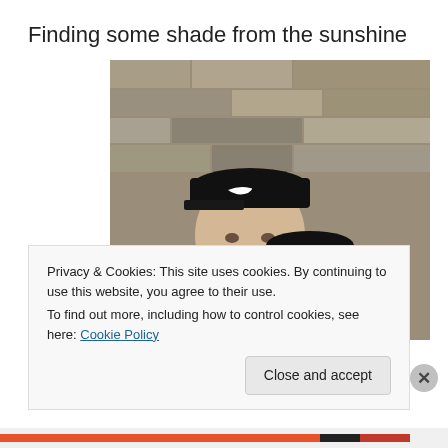Finding some shade from the sunshine
[Figure (photo): A man wearing a black Nike cap and black jacket takes a selfie with a young boy wearing a black cap, in front of a stone wall background.]
Privacy & Cookies: This site uses cookies. By continuing to use this website, you agree to their use.
To find out more, including how to control cookies, see here: Cookie Policy